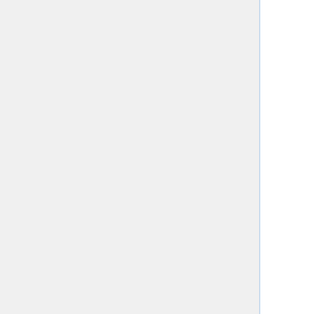Springenberg, and T. Brox. Learning to generate chairs with convolutional neural networks. In CVPR, 2015.
4. I. Goodfellow, J. Pouget-Abadie, M. Mirza, B. Xu, D. Warde-Farley, S. Ozair, A. Courville, and Y. Bengio. Generative adversarial nets. In NIPS, 2014.
5. D. P. Kingma and M. Welling. Auto-encoding variational bayes. In ICLR, 2014.
6. S. Reed, Z. Akata, X. Yan, L. Logeswaran, B. Schiele, and H. Lee. Generative Adversarial Text to Image Synthesis. In ICML, 2016.
7. Xiang, Lei, et al. "Deep Embedding Convolutional Neural Network for Synthesizing CT